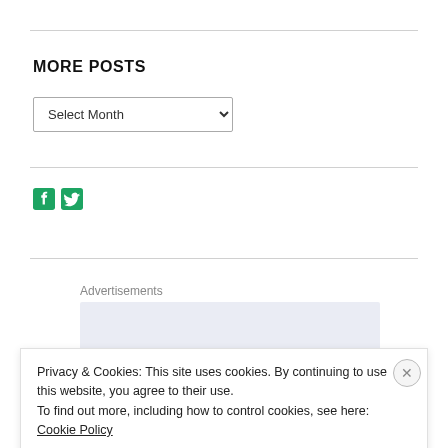MORE POSTS
[Figure (screenshot): Select Month dropdown widget]
[Figure (illustration): Facebook and Twitter social icons in teal/green color]
Advertisements
[Figure (other): Advertisement placeholder box with light blue-gray background]
Privacy & Cookies: This site uses cookies. By continuing to use this website, you agree to their use.
To find out more, including how to control cookies, see here: Cookie Policy
Close and accept